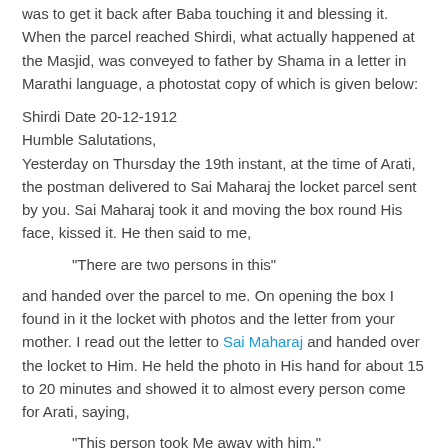was to get it back after Baba touching it and blessing it. When the parcel reached Shirdi, what actually happened at the Masjid, was conveyed to father by Shama in a letter in Marathi language, a photostat copy of which is given below:
Shirdi Date 20-12-1912
Humble Salutations,
Yesterday on Thursday the 19th instant, at the time of Arati, the postman delivered to Sai Maharaj the locket parcel sent by you. Sai Maharaj took it and moving the box round His face, kissed it. He then said to me,
"There are two persons in this"
and handed over the parcel to me. On opening the box I found in it the locket with photos and the letter from your mother. I read out the letter to Sai Maharaj and handed over the locket to Him. He held the photo in His hand for about 15 to 20 minutes and showed it to almost every person come for Arati, saying,
"This person took Me away with him."